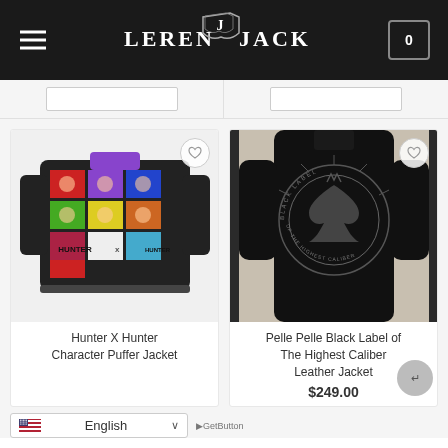[Figure (logo): LEREN JACK brand logo on black header bar with hamburger menu and cart icon]
[Figure (photo): Hunter X Hunter Character Puffer Jacket - colorful anime character print puffer jacket]
Hunter X Hunter
Character Puffer Jacket
[Figure (photo): Pelle Pelle Black Label of The Highest Caliber Leather Jacket - black leather jacket with ornate back design]
Pelle Pelle Black Label of The Highest Caliber Leather Jacket
$249.00